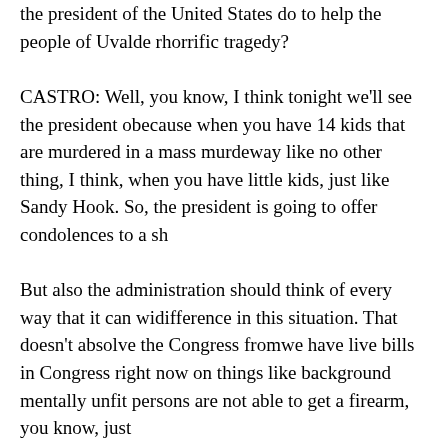the president of the United States do to help the people of Uvalde recover from this horrific tragedy?
CASTRO: Well, you know, I think tonight we'll see the president of because when you have 14 kids that are murdered in a mass murder way like no other thing, I think, when you have little kids, just like Sandy Hook. So, the president is going to offer condolences to a sh
But also the administration should think of every way that it can wi difference in this situation. That doesn't absolve the Congress from we have live bills in Congress right now on things like background mentally unfit persons are not able to get a firearm, you know, just
And oftentimes when it comes to policy, you'll see that oftentimes against each other. So, people, oftentimes Republicans want to say or it's just a law enforcement issue or it's just a gun issue. I don't thi